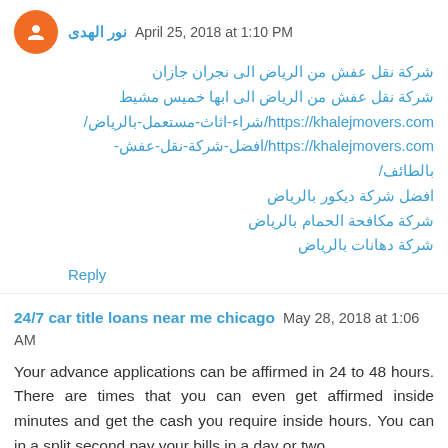نور الهدى  April 25, 2018 at 1:10 PM
شركة نقل عفش من الرياض الى نجران جازان
شركة نقل عفش من الرياض الى ابها خميس مشيط
https://khalejmovers.com/شراء-اثاث-مستعمل-بالرياض/
https://khalejmovers.com/افضل-شركة-نقل-عفش-بالطائف/
افضل شركة ديكور بالرياض
شركة مكافحة الحمام بالرياض
شركة دهانات بالرياض
Reply
24/7 car title loans near me chicago  May 28, 2018 at 1:06 AM
Your advance applications can be affirmed in 24 to 48 hours. There are times that you can even get affirmed inside minutes and get the cash you require inside hours. You can in a split second pay your bills in a day or two.
Reply